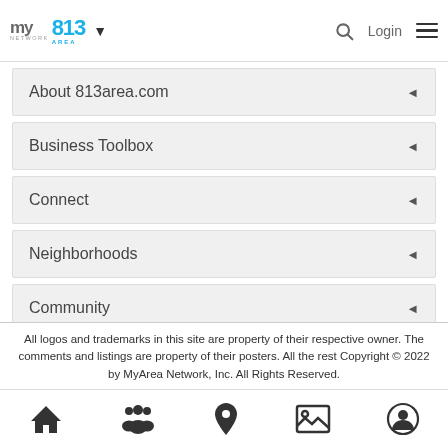my area network | 813 AREA — Login
About 813area.com
Business Toolbox
Connect
Neighborhoods
Community
All logos and trademarks in this site are property of their respective owner. The comments and listings are property of their posters. All the rest Copyright © 2022 by MyArea Network, Inc. All Rights Reserved.
Home | People | Location | Gallery | Profile